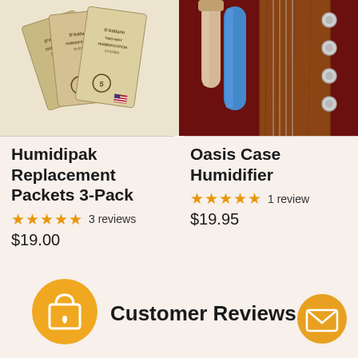[Figure (photo): Three D'Addario Humidipak Humidification System packets fanned out on a light beige background]
[Figure (photo): Oasis Case Humidifier product shown next to guitar headstock with red velvet case lining, showing blue cylindrical humidifier tube]
Humidipak Replacement Packets 3-Pack
★★★★★ 3 reviews
$19.00
Oasis Case Humidifier
★★★★★ 1 review
$19.95
[Figure (illustration): Orange circular shopping bag with heart icon button]
Customer Reviews
[Figure (illustration): Orange circular email/envelope icon button in bottom right corner]